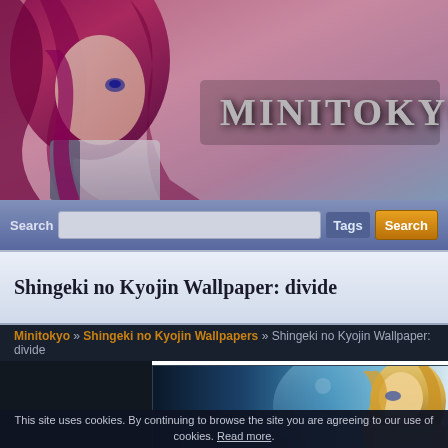[Figure (screenshot): Minitokyo website header with anime illustration of a girl with pink/red hair on the left side and the site logo 'MINITOKYO' in the center-right area]
MINITOKYO
Search  Tags  Search
Shingeki no Kyojin Wallpaper: divide
Minitokyo » Shingeki no Kyojin Wallpapers » Shingeki no Kyojin Wallpaper: divide
[Figure (illustration): Anime wallpaper preview thumbnail showing a blonde character from Shingeki no Kyojin (Attack on Titan) with a blue/teal glowing background]
This site uses cookies. By continuing to browse the site you are agreeing to our use of cookies. Read more.